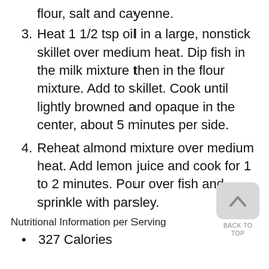flour, salt and cayenne.
3. Heat 1 1/2 tsp oil in a large, nonstick skillet over medium heat. Dip fish in the milk mixture then in the flour mixture. Add to skillet. Cook until lightly browned and opaque in the center, about 5 minutes per side.
4. Reheat almond mixture over medium heat. Add lemon juice and cook for 1 to 2 minutes. Pour over fish and sprinkle with parsley.
Nutritional Information per Serving
327 Calories